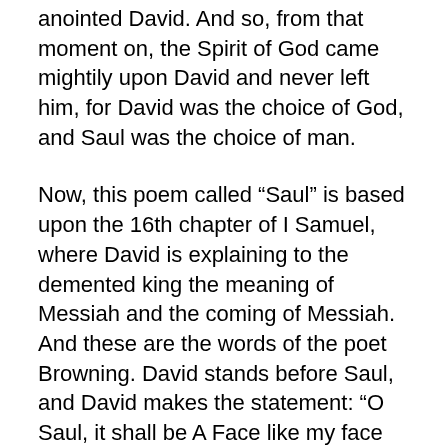anointed David. And so, from that moment on, the Spirit of God came mightily upon David and never left him, for David was the choice of God, and Saul was the choice of man.
Now, this poem called “Saul” is based upon the 16th chapter of I Samuel, where David is explaining to the demented king the meaning of Messiah and the coming of Messiah. And these are the words of the poet Browning. David stands before Saul, and David makes the statement: “O Saul, it shall be A Face like my face that receives thee; a Man like to me, Thou shalt love and be loved by, for ever: a Hand like this hand Shall throw open the gates of new life to